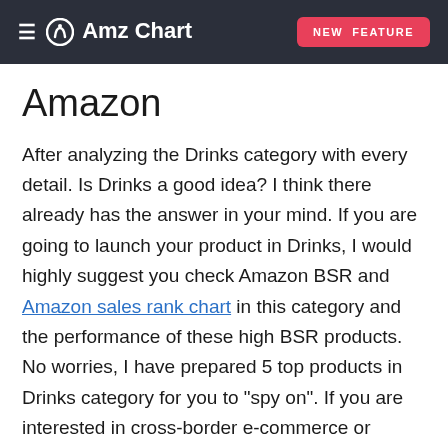≡ AmzChart  NEW FEATURE
Amazon
After analyzing the Drinks category with every detail. Is Drinks a good idea? I think there already has the answer in your mind. If you are going to launch your product in Drinks, I would highly suggest you check Amazon BSR and Amazon sales rank chart in this category and the performance of these high BSR products. No worries, I have prepared 5 top products in Drinks category for you to "spy on". If you are interested in cross-border e-commerce or